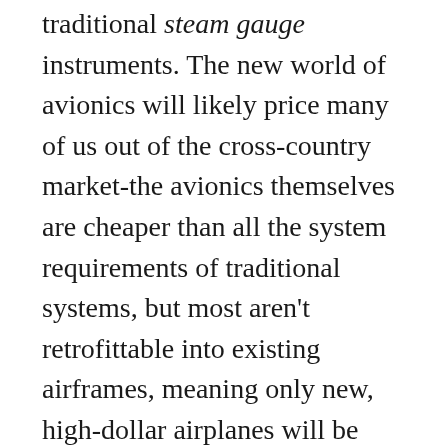traditional steam gauge instruments. The new world of avionics will likely price many of us out of the cross-country market-the avionics themselves are cheaper than all the system requirements of traditional systems, but most aren't retrofittable into existing airframes, meaning only new, high-dollar airplanes will be PFD/MFD equipped for instrument flight.
BOTTOM LINE: It looks like the future of cross-country, personal aviation will involve autopilot-managed flight with great situational awareness using flat-screen avionics technology. But emotionally, I think we're taking another big step away from the fun and freedom of flight most of us envisioned when we first learned to fly, at a price putting many recreational pilots out of the